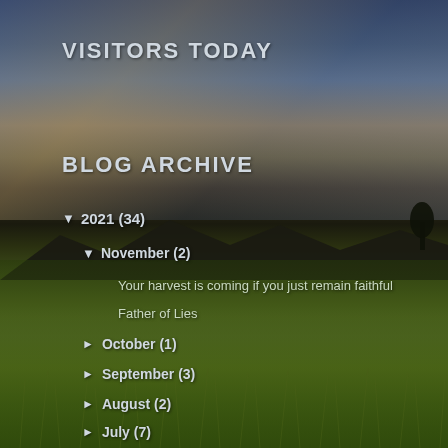VISITORS TODAY
BLOG ARCHIVE
▼ 2021 (34)
▼ November (2)
Your harvest is coming if you just remain faithful
Father of Lies
► October (1)
► September (3)
► August (2)
► July (7)
► June (8)
► May (6)
► February (1)